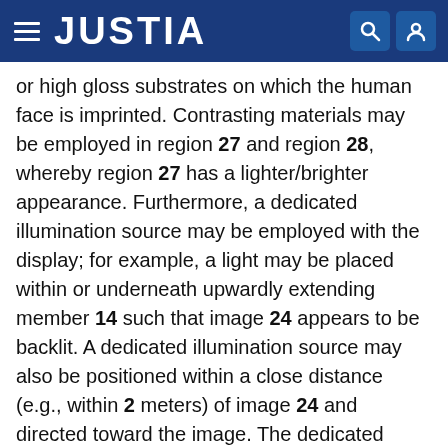JUSTIA
or high gloss substrates on which the human face is imprinted. Contrasting materials may be employed in region 27 and region 28, whereby region 27 has a lighter/brighter appearance. Furthermore, a dedicated illumination source may be employed with the display; for example, a light may be placed within or underneath upwardly extending member 14 such that image 24 appears to be backlit. A dedicated illumination source may also be positioned within a close distance (e.g., within 2 meters) of image 24 and directed toward the image. The dedicated illumination source may illuminate the image with a higher lux value than would otherwise be available by non-dedicated environmental lighting.
The beauty care products included in rows 16, 18, and 20 may be the same or may be different from one another. FIGS. 2 and 3 show an example of a packaged